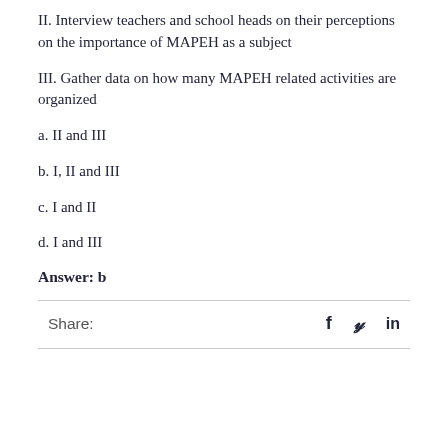II. Interview teachers and school heads on their perceptions on the importance of MAPEH as a subject
III. Gather data on how many MAPEH related activities are organized
a. II and III
b. I, II and III
c. I and II
d. I and III
Answer: b
Share: f  y  in